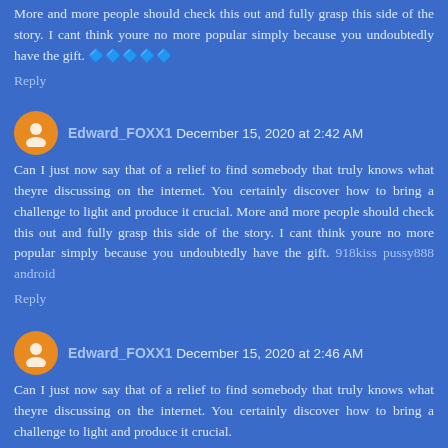More and more people should check this out and fully grasp this side of the story. I cant think youre no more popular simply because you undoubtedly have the gift. 🔷🔷🔷🔷🔷
Reply
Edward_FOXX1  December 15, 2020 at 2:42 AM
Can I just now say that of a relief to find somebody that truly knows what theyre discussing on the internet. You certainly discover how to bring a challenge to light and produce it crucial. More and more people should check this out and fully grasp this side of the story. I cant think youre no more popular simply because you undoubtedly have the gift. 918kiss pussy888 android
Reply
Edward_FOXX1  December 15, 2020 at 2:46 AM
Can I just now say that of a relief to find somebody that truly knows what theyre discussing on the internet. You certainly discover how to bring a challenge to light and produce it crucial.